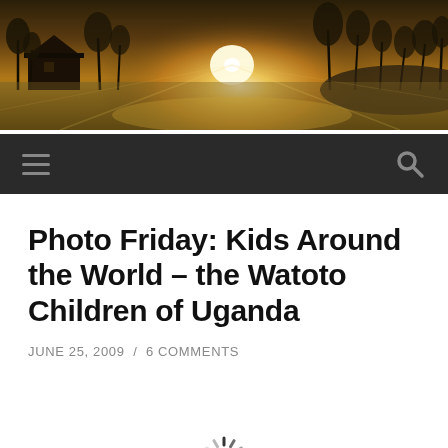[Figure (photo): Landscape header photo showing a barn and trees in golden sunrise light, with bright sunlight flare in center]
[Figure (screenshot): Dark navigation bar with hamburger menu icon on left and search magnifying glass icon on right]
Photo Friday: Kids Around the World – the Watoto Children of Uganda
JUNE 25, 2009 / 6 COMMENTS
[Figure (other): Loading spinner icon (circular dashed spinner)]